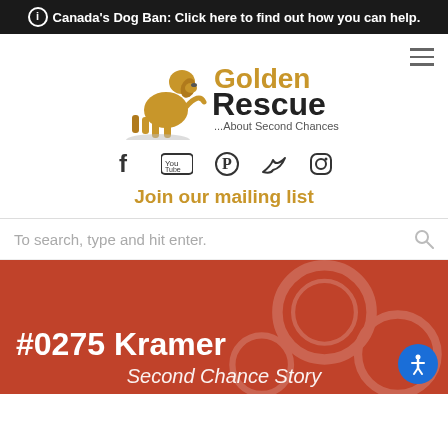ⓘ Canada's Dog Ban: Click here to find out how you can help.
[Figure (logo): Golden Rescue logo with golden dog silhouette and text 'Golden Rescue ...About Second Chances']
[Figure (infographic): Social media icons: Facebook, YouTube, Pinterest, Twitter, Instagram]
Join our mailing list
To search, type and hit enter.
#0275 Kramer
Second Chance Story